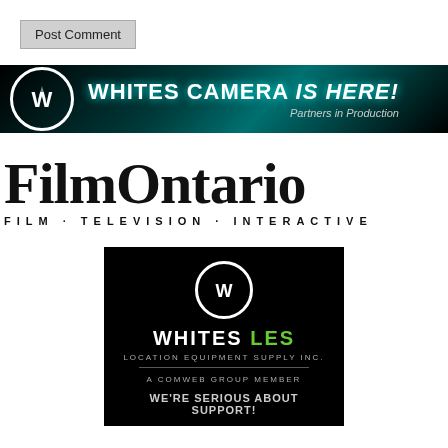[Figure (screenshot): Post Comment button — grey rectangular button with text 'Post Comment']
[Figure (logo): Whites Camera Is Here! banner — dark teal/black background with WW circle logo, bold white text 'WHITES CAMERA IS HERE!' and italic subtitle 'Partners in Production']
[Figure (logo): FilmOntario logo — large serif black text 'FilmOntario' with subtitle 'FILM · TELEVISION · INTERACTIVE']
[Figure (logo): Whites LES Location Equipment Supply Inc. banner — black background with WW circle logo, green and white 'WHITES LES' text, 'LOCATION EQUIPMENT SUPPLY INC.', 'A COMWEB GROUP MEMBER', and partial text 'WE'RE SERIOUS ABOUT SUPPORT!']